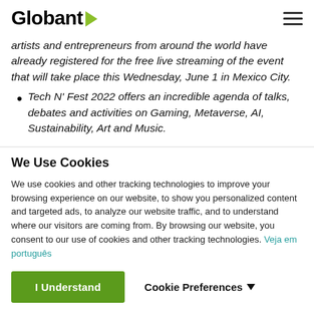Globant
artists and entrepreneurs from around the world have already registered for the free live streaming of the event that will take place this Wednesday, June 1 in Mexico City.
Tech N' Fest 2022 offers an incredible agenda of talks, debates and activities on Gaming, Metaverse, AI, Sustainability, Art and Music.
We Use Cookies
We use cookies and other tracking technologies to improve your browsing experience on our website, to show you personalized content and targeted ads, to analyze our website traffic, and to understand where our visitors are coming from. By browsing our website, you consent to our use of cookies and other tracking technologies. Veja em português
I Understand
Cookie Preferences